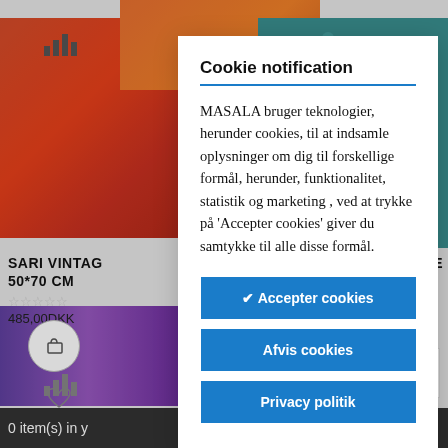[Figure (screenshot): Background of an e-commerce product page showing colorful textile products (sari vintage, decorative pillows) with prices and cart icons, partially obscured by a cookie consent modal dialog. Products visible include red/orange fabric squares, a teal patterned pillow, purple and orange textiles at the bottom.]
Cookie notification
MASALA bruger teknologier, herunder cookies, til at indsamle oplysninger om dig til forskellige formål, herunder, funktionalitet, statistik og marketing , ved at trykke på 'Accepter cookies' giver du samtykke til alle disse formål.
✔ Accepter cookies
Afvis cookies
Privacy politik
0 item(s) in y